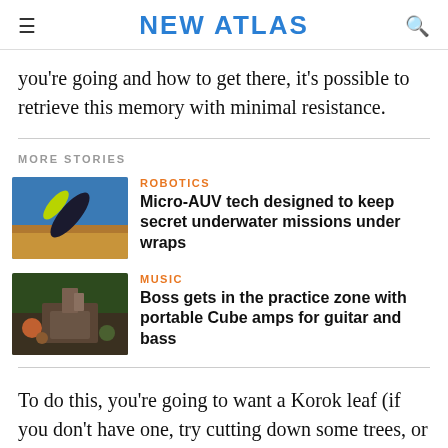NEW ATLAS
you're going and how to get there, it's possible to retrieve this memory with minimal resistance.
MORE STORIES
[Figure (photo): A yellow and dark-colored underwater drone/AUV against a blue and sandy background]
ROBOTICS
Micro-AUV tech designed to keep secret underwater missions under wraps
[Figure (photo): People sitting outdoors with musical equipment and plants in a garden setting]
MUSIC
Boss gets in the practice zone with portable Cube amps for guitar and bass
To do this, you're going to want a Korok leaf (if you don't have one, try cutting down some trees, or